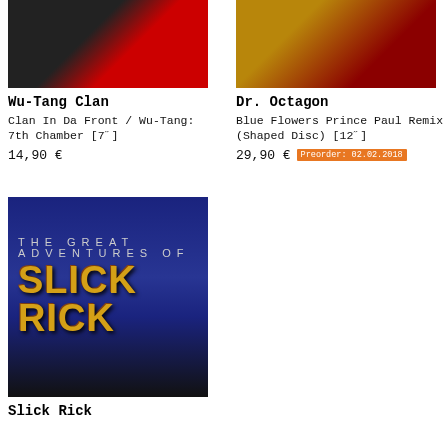[Figure (photo): Wu-Tang Clan album cover partial view – black and white patterned background with red/black design]
Wu-Tang Clan
Clan In Da Front / Wu-Tang: 7th Chamber [7"]
14,90 €
[Figure (photo): Dr. Octagon album cover partial view – gold and dark brown circular design]
Dr. Octagon
Blue Flowers Prince Paul Remix (Shaped Disc) [12"]
29,90 €  Preorder: 02.02.2018
[Figure (photo): Slick Rick – The Great Adventures of Slick Rick album cover showing NYC skyline at night with golden Slick Rick lettering]
Slick Rick